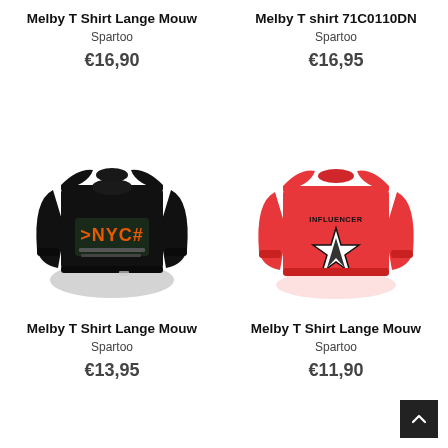Melby T Shirt Lange Mouw
Spartoo
€16,90
Melby T shirt 71C0110DN
Spartoo
€16,95
[Figure (photo): Black long-sleeve children's T-shirt with NYC graphic print]
[Figure (photo): Red long-sleeve children's T-shirt with star/Influencer graphic print]
Melby T Shirt Lange Mouw
Spartoo
€13,95
Melby T Shirt Lange Mouw
Spartoo
€11,90